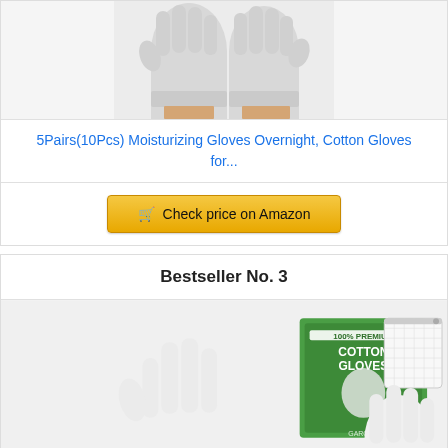[Figure (photo): White moisturizing cotton gloves product image - hands wearing grey/white gloves]
5Pairs(10Pcs) Moisturizing Gloves Overnight, Cotton Gloves for...
[Figure (other): Check price on Amazon button with shopping cart icon]
Bestseller No. 3
[Figure (photo): 100% Premium Cotton Gloves product with box packaging, white gloves, and mesh laundry bag]